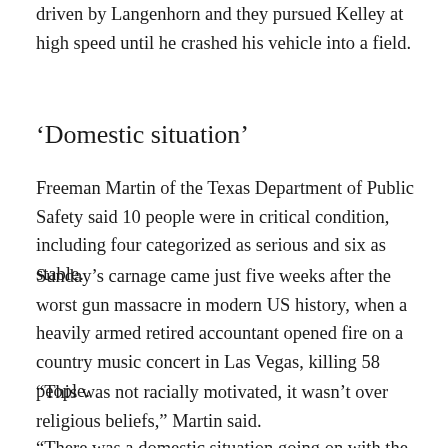driven by Langenhorn and they pursued Kelley at high speed until he crashed his vehicle into a field.
‘Domestic situation’
Freeman Martin of the Texas Department of Public Safety said 10 people were in critical condition, including four categorized as serious and six as stable.
Sunday’s carnage came just five weeks after the worst gun massacre in modern US history, when a heavily armed retired accountant opened fire on a country music concert in Las Vegas, killing 58 people.
“This was not racially motivated, it wasn’t over religious beliefs,” Martin said.
“There was a domestic situation going on with the